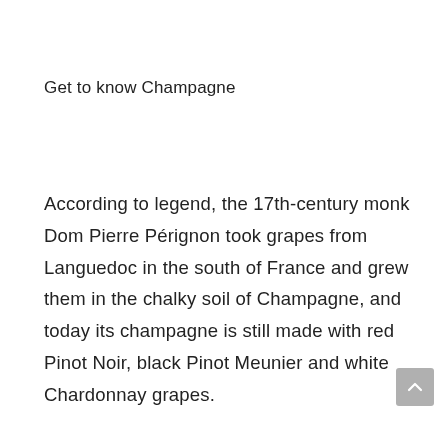Get to know Champagne
According to legend, the 17th-century monk Dom Pierre Pérignon took grapes from Languedoc in the south of France and grew them in the chalky soil of Champagne, and today its champagne is still made with red Pinot Noir, black Pinot Meunier and white Chardonnay grapes.